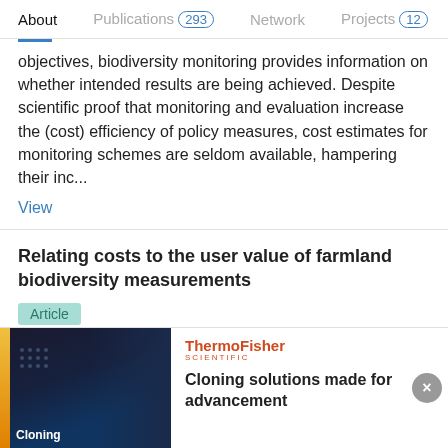About  Publications 293  Network  Projects 12
objectives, biodiversity monitoring provides information on whether intended results are being achieved. Despite scientific proof that monitoring and evaluation increase the (cost) efficiency of policy measures, cost estimates for monitoring schemes are seldom available, hampering their inc...
View
Relating costs to the user value of farmland biodiversity measurements
Article
Oct 2015
Stefano Targetti · Felix Herzog · I.R. Geijzendorffer · [...] · Davide Viaggi
Advertisement
[Figure (other): ThermoFisher Scientific advertisement banner with dark blue background image labeled 'Cloning' and headline 'Cloning solutions made for advancement']